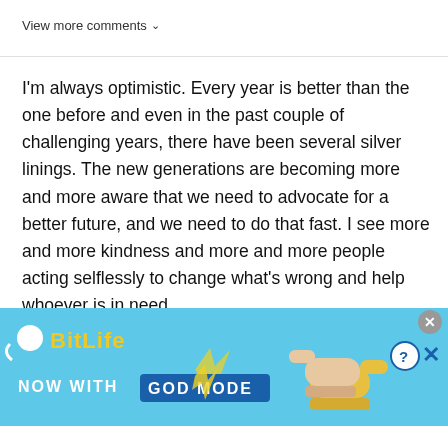View more comments ˅
I'm always optimistic. Every year is better than the one before and even in the past couple of challenging years, there have been several silver linings. The new generations are becoming more and more aware that we need to advocate for a better future, and we need to do that fast. I see more and more kindness and more and more people acting selflessly to change what's wrong and help whoever is in need.
[Figure (screenshot): BitLife mobile app advertisement banner with light blue background, BitLife logo in yellow bold text, 'NOW WITH GOD MODE' text, and cartoon hand pointing fingers graphic]